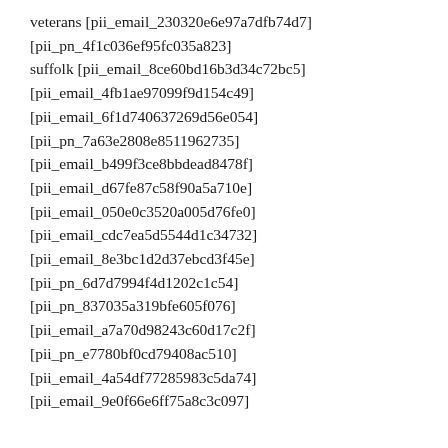veterans [pii_email_230320e6e97a7dfb74d7]
[pii_pn_4f1c036ef95fc035a823]
suffolk [pii_email_8ce60bd16b3d34c72bc5]
[pii_email_4fb1ae97099f9d154c49]
[pii_email_6f1d740637269d56e054]
[pii_pn_7a63e2808e8511962735]
[pii_email_b499f3ce8bbdead8478f]
[pii_email_d67fe87c58f90a5a710e]
[pii_email_050e0c3520a005d76fe0]
[pii_email_cdc7ea5d5544d1c34732]
[pii_email_8e3bc1d2d37ebcd3f45e]
[pii_pn_6d7d7994f4d1202c1c54]
[pii_pn_837035a319bfe605f076]
[pii_email_a7a70d98243c60d17c2f]
[pii_pn_e7780bf0cd79408ac510]
[pii_email_4a54df77285983c5da74]
[pii_email_9e0f66e6ff75a8c3c097]